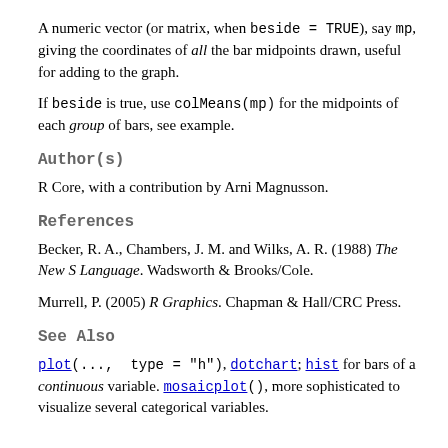A numeric vector (or matrix, when beside = TRUE), say mp, giving the coordinates of all the bar midpoints drawn, useful for adding to the graph.
If beside is true, use colMeans(mp) for the midpoints of each group of bars, see example.
Author(s)
R Core, with a contribution by Arni Magnusson.
References
Becker, R. A., Chambers, J. M. and Wilks, A. R. (1988) The New S Language. Wadsworth & Brooks/Cole.
Murrell, P. (2005) R Graphics. Chapman & Hall/CRC Press.
See Also
plot(..., type = "h"), dotchart; hist for bars of a continuous variable. mosaicplot(), more sophisticated to visualize several categorical variables.